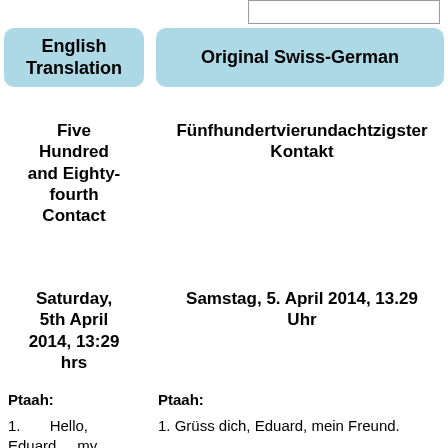| English Translation | Original Swiss-German |
| --- | --- |
| Five Hundred and Eighty-fourth Contact | Fünfhundertvierundachtzigster Kontakt |
| Saturday, 5th April 2014, 13:29 hrs | Samstag, 5. April 2014, 13.29 Uhr |
Ptaah:
1.    Hello, Eduard, my
Ptaah:
1. Grüss dich, Eduard, mein Freund.